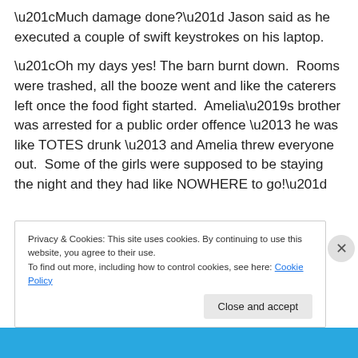“Much damage done?” Jason said as he executed a couple of swift keystrokes on his laptop.
“Oh my days yes! The barn burnt down.  Rooms were trashed, all the booze went and like the caterers left once the food fight started.  Amelia’s brother was arrested for a public order offence – he was like TOTES drunk – and Amelia threw everyone out.  Some of the girls were supposed to be staying the night and they had like NOWHERE to go!”
Privacy & Cookies: This site uses cookies. By continuing to use this website, you agree to their use.
To find out more, including how to control cookies, see here: Cookie Policy